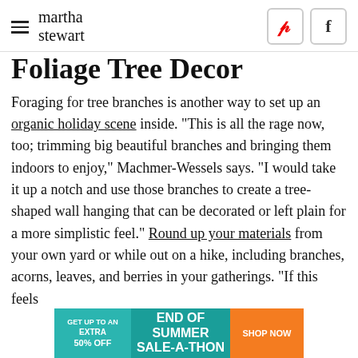martha stewart
Foliage Tree Decor
Foraging for tree branches is another way to set up an organic holiday scene inside. "This is all the rage now, too; trimming big beautiful branches and bringing them indoors to enjoy," Machmer-Wessels says. "I would take it up a notch and use those branches to create a tree-shaped wall hanging that can be decorated or left plain for a more simplistic feel." Round up your materials from your own yard or while out on a hike, including branches, acorns, leaves, and berries in your gatherings. "If this feels
[Figure (screenshot): Advertisement banner: GET UP TO AN EXTRA 50% OFF | END OF SUMMER SALE-A-THON | SHOP NOW]